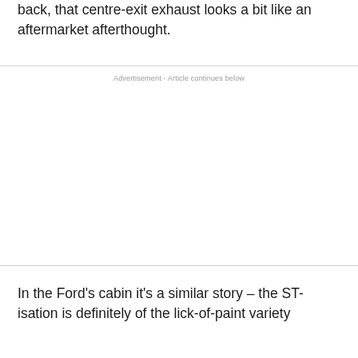back, that centre-exit exhaust looks a bit like an aftermarket afterthought.
Advertisement - Article continues below
In the Ford's cabin it's a similar story – the ST-isation is definitely of the lick-of-paint variety